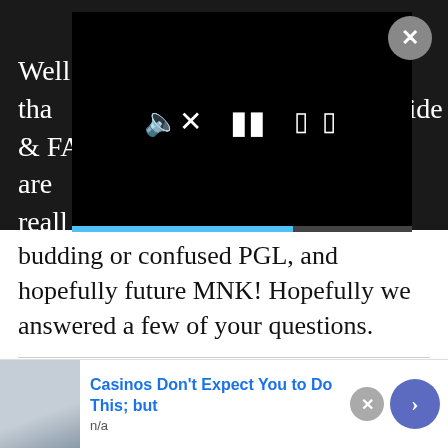[Figure (screenshot): Video player overlay with playback controls (mute, pause, fullscreen) and a progress bar in cyan/blue. A close button (X) is in the top right corner.]
Well tha... Guide & FAQ. T... these are reall... out the budding or confused PGL, and hopefully future MNK! Hopefully we answered a few of your questions.
Join our IRL Cross-World Linkshells (socials lol):
Instagram (@ffxivguild) - We just
[Figure (screenshot): Advertisement banner: image of a man in a blue shirt on the left, text 'Casinos Don't Expect You to Do This; but' in blue, 'n/a' in gray below, close button and blue arrow button on the right.]